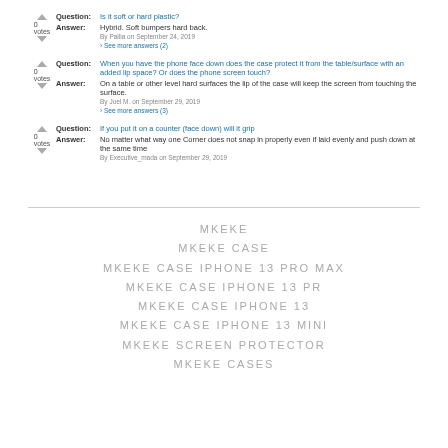Question: Is it soft or hard plastic?
Answer: Hybrid. Soft bumpers hard back.
By Pallia on September 24, 2019
> See more answers (2)
Question: When you have the phone face down does the case protect it from the table/surface with an added lip space? Or does the phone screen touch?
Answer: On a table or other level hard surfaces the lip of the case will keep the screen from touching the surface.
By Joel M. on September 29, 2019
> See more answers (3)
Question: If you put it on a counter (face down) will it grip
Answer: No matter what way one Corner does not snap in properly even if laid evenly and push down at the same time
By Executive_mada on September 29, 2019
MKEKE
MKEKE CASE
MKEKE CASE IPHONE 13 PRO MAX
MKEKE CASE IPHONE 13 PR
MKEKE CASE IPHONE 13
MKEKE CASE IPHONE 13 MINI
MKEKE SCREEN PROTECTOR
MKEKE CASES